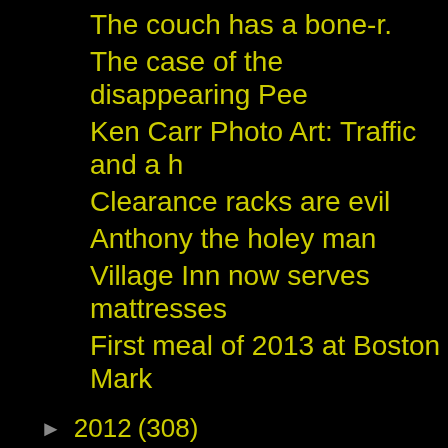The couch has a bone-r.
The case of the disappearing Pee
Ken Carr Photo Art: Traffic and a h
Clearance racks are evil
Anthony the holey man
Village Inn now serves mattresses
First meal of 2013 at Boston Mark
▶ 2012 (308)
▶ 2011 (144)